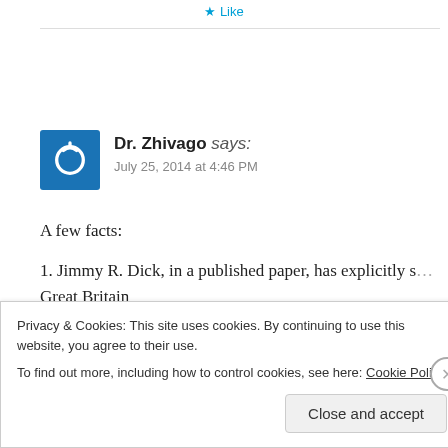★ Like
Dr. Zhivago says:
July 25, 2014 at 4:46 PM
A few facts:
1. Jimmy R. Dick, in a published paper, has explicitly s… Great Britain
Privacy & Cookies: This site uses cookies. By continuing to use this website, you agree to their use.
To find out more, including how to control cookies, see here: Cookie Policy
Close and accept